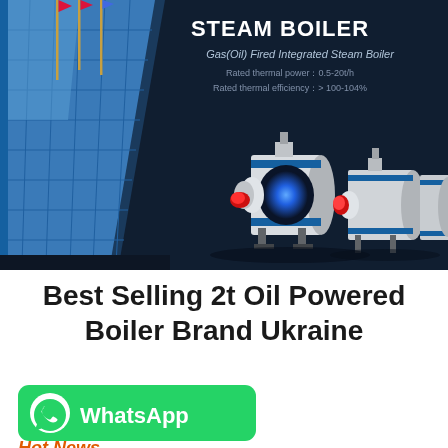[Figure (photo): Dark navy banner showing a glass-facade building on the left with flagpoles, and three gas/oil fired integrated steam boilers displayed on dark background. Text overlay reads 'STEAM BOILER', 'Gas(Oil) Fired Integrated Steam Boiler', 'Rated thermal power: 0.5-20t/h', 'Rated thermal efficiency: > 100-104%'.]
Best Selling 2t Oil Powered Boiler Brand Ukraine
[Figure (logo): WhatsApp button: green rounded rectangle with WhatsApp phone icon on left and 'WhatsApp' text in white bold on right.]
Hot News